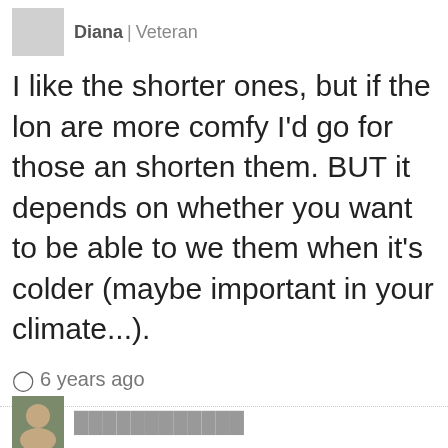Diana | Veteran
I like the shorter ones, but if the longer ones are more comfy I'd go for those and shorten them. BUT it depends on whether you want to be able to wear them when it's colder (maybe important in your climate...).
6 years ago